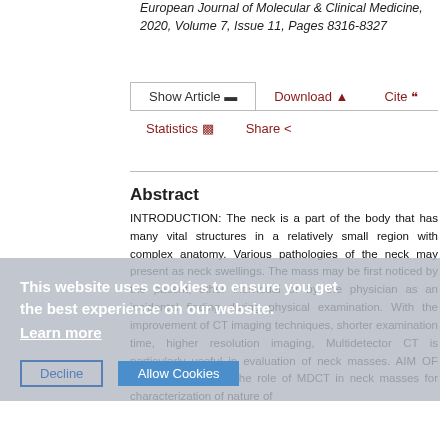European Journal of Molecular & Clinical Medicine, 2020, Volume 7, Issue 11, Pages 8316-8327
Show Article | Download | Cite | Statistics | Share
Abstract
INTRODUCTION: The neck is a part of the body that has many vital structures in a relatively small region with complex anatomy. Various pathologies of the neck may present as neck swellings. The mass may be first noticed by the patient, other individual or by the physician as an incidental finding during physical examination. With the improvement of CT imaging techniques, shorter examination time, higher resolution imaging, Multidetector CT is particularly useful in evaluation of neck masses. AIM OF STUDY: To assess the role of MDCT in neck masses for characterization of nature of
This website uses cookies to ensure you get the best experience on our website. Learn more